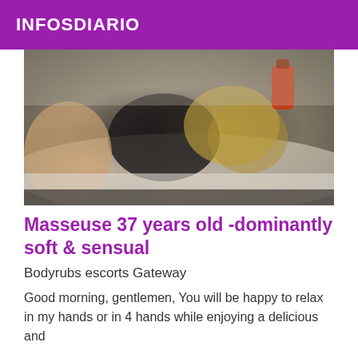INFOSDIARIO
[Figure (photo): Photo of two people on a bed, one person appears to be giving a massage to the other. A red lamp/light fixture is visible in the upper right background.]
Masseuse 37 years old -dominantly soft & sensual
Bodyrubs escorts Gateway
Good morning, gentlemen, You will be happy to relax in my hands or in 4 hands while enjoying a delicious and